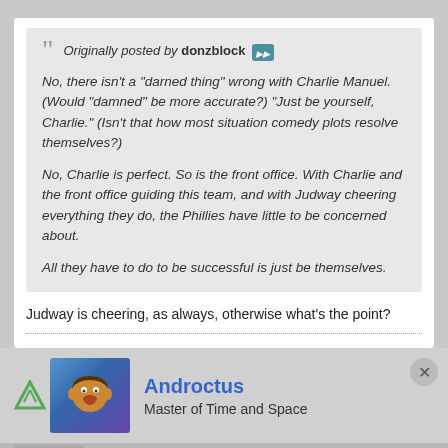Originally posted by donzblock [>>]
No, there isn't a "darned thing" wrong with Charlie Manuel. (Would "damned" be more accurate?) "Just be yourself, Charlie." (Isn't that how most situation comedy plots resolve themselves?)

No, Charlie is perfect. So is the front office. With Charlie and the front office guiding this team, and with Judway cheering everything they do, the Phillies have little to be concerned about.

All they have to do to be successful is just be themselves.
Judway is cheering, as always, otherwise what's the point?
Androctus
Master of Time and Space
[Figure (screenshot): Advertisement for Freesta ad management: 'Tailored ad management solutions for every publisher' with LEARN MORE button]